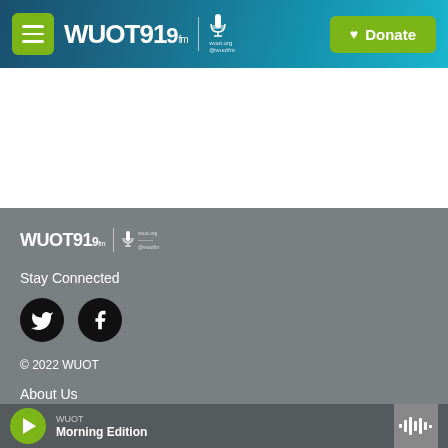WUOT 91.9 FM | wuot.org @wuotfm | Donate
[Figure (logo): WUOT 91.9 FM logo in white on dark teal/blue gradient header with green menu button and green Donate button]
[Figure (logo): WUOT 91.9 FM footer logo in white on gray background]
Stay Connected
[Figure (illustration): Twitter bird icon in white on black circle]
[Figure (illustration): Facebook f icon in white on black circle]
© 2022 WUOT
About Us
Support WUOT
WUOT Morning Edition